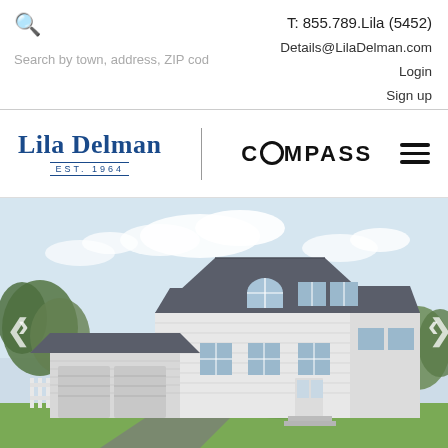T: 855.789.Lila (5452)
Details@LilaDelman.com
Login
Sign up
Search by town, address, ZIP cod
[Figure (logo): Lila Delman EST. 1964 logo with Compass branding and hamburger menu]
[Figure (photo): Exterior photo of a large white colonial-style two-story home with gray roof, two-car garage, and landscaped front yard. Slight overcast sky.]